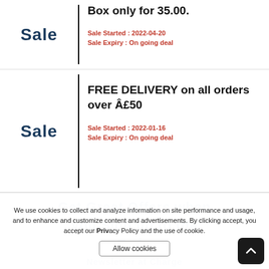Sale
Box only for 35.00.
Sale Started : 2022-04-20
Sale Expiry : On going deal
Sale
FREE DELIVERY on all orders over Â£50
Sale Started : 2022-01-16
Sale Expiry : On going deal
We use cookies to collect and analyze information on site performance and usage, and to enhance and customize content and advertisements. By clicking accept, you accept our Privacy Policy and the use of cookie.
Allow cookies